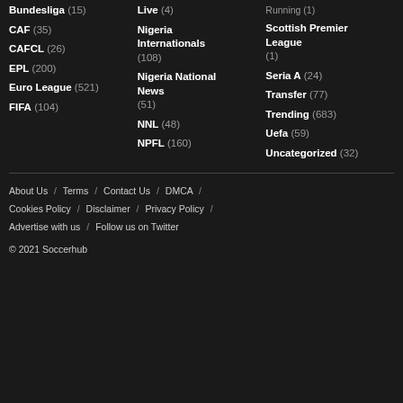Bundesliga (15)
CAF (35)
CAFCL (26)
EPL (200)
Euro League (521)
FIFA (104)
Live (4)
Nigeria Internationals (108)
Nigeria National News (51)
NNL (48)
NPFL (160)
Running (1)
Scottish Premier League (1)
Seria A (24)
Transfer (77)
Trending (683)
Uefa (59)
Uncategorized (32)
About Us / Terms / Contact Us / DMCA / Cookies Policy / Disclaimer / Privacy Policy / Advertise with us / Follow us on Twitter
© 2021 Soccerhub